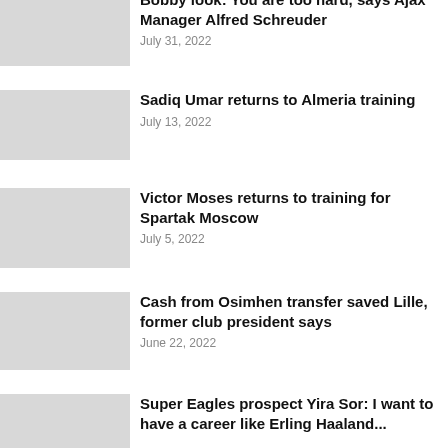Bobby look: You are too hard, says Ajax Manager Alfred Schreuder
July 31, 2022
Sadiq Umar returns to Almeria training
July 13, 2022
Victor Moses returns to training for Spartak Moscow
July 5, 2022
Cash from Osimhen transfer saved Lille, former club president says
June 22, 2022
Super Eagles prospect Yira Sor: I want to have a career like Erling Haaland...